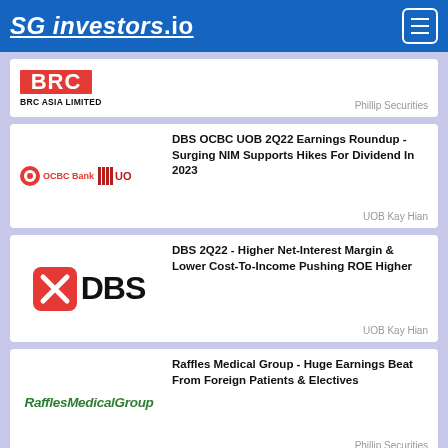SG investors.io
[Figure (logo): BRC Asia Limited logo (partial, red letters on red background) with company name below]
Phillip Securities
[Figure (logo): OCBC Bank and UOB logos side by side]
DBS OCBC UOB 2Q22 Earnings Roundup - Surging NIM Supports Hikes For Dividend In 2023
UOB Kay Hian
[Figure (logo): DBS bank logo with red X icon]
DBS 2Q22 - Higher Net-Interest Margin & Lower Cost-To-Income Pushing ROE Higher
UOB Kay Hian
[Figure (logo): Raffles Medical Group logo in green italic text]
Raffles Medical Group - Huge Earnings Beat From Foreign Patients & Electives
Phillip Securities